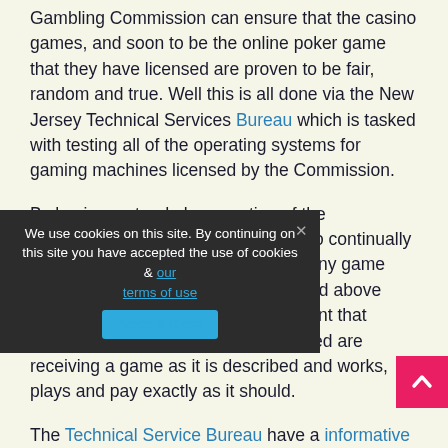Gambling Commission can ensure that the casino games, and soon to be the online poker game that they have licensed are proven to be fair, random and true. Well this is all done via the New Jersey Technical Services Bureau which is tasked with testing all of the operating systems for gaming machines licensed by the Commission.
By having a stand along section of the Commission whose sole purpose is to continually check, double check and verify that any game licensed by the Commission is fair and above board this is how they can be confident that players of any gambling game licensed are receiving a game as it is described and works, plays and pay exactly as it should.
The Technical Service Bureau have a informative website where you will find full info how they work along with their complaints and investigation procedures along with
We use cookies on this site. By continuing on this site you have accepted the use of cookies & our terms of use
Agree & Close